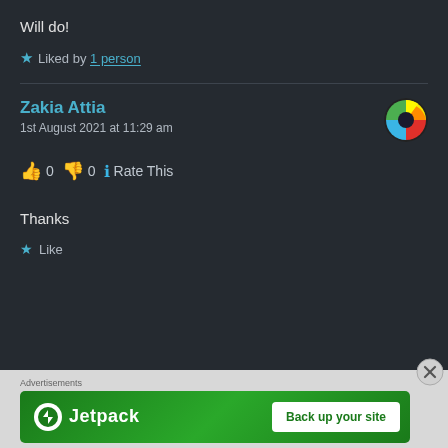Will do!
★ Liked by 1 person
Zakia Attia
1st August 2021 at 11:29 am
👍 0 👎 0 ℹ Rate This
Thanks
★ Like
Advertisements
[Figure (other): Jetpack advertisement banner with logo and 'Back up your site' button]